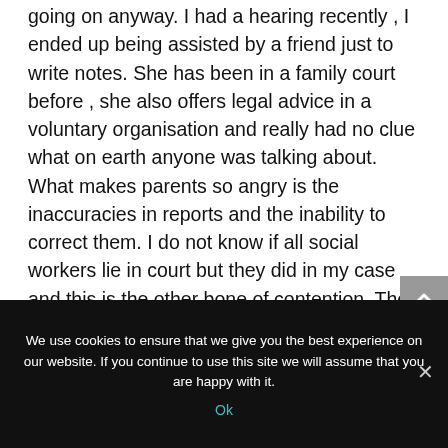going on anyway. I had a hearing recently , I ended up being assisted by a friend just to write notes. She has been in a family court before , she also offers legal advice in a voluntary organisation and really had no clue what on earth anyone was talking about. What makes parents so angry is the inaccuracies in reports and the inability to correct them. I do not know if all social workers lie in court but they did in my case and this is the other bone of contention. The other problem I had was outside of
We use cookies to ensure that we give you the best experience on our website. If you continue to use this site we will assume that you are happy with it.
Ok